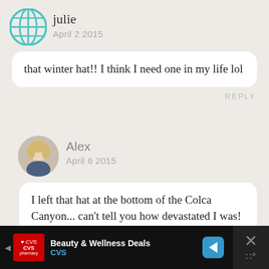julie
April 2 2015
that winter hat!! I think I need one in my life lol
REPLY
[Figure (photo): Round avatar photo of Alex, a blonde woman smiling]
Alex
April 6 2015
I left that hat at the bottom of the Colca Canyon... can’t tell you how devastated I was! Maybe a return trip to Peru to find another one is in order!
[Figure (infographic): Advertisement bar for CVS Beauty & Wellness Deals]